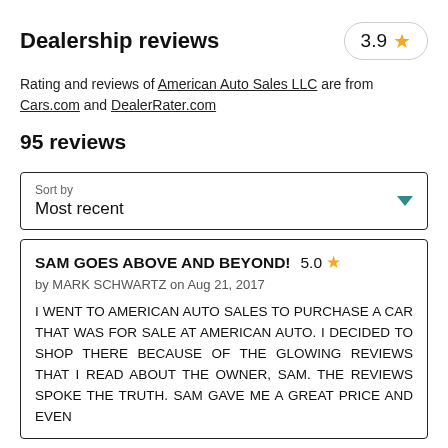Dealership reviews
3.9 ★
Rating and reviews of American Auto Sales LLC are from Cars.com and DealerRater.com
95 reviews
Sort by
Most recent
SAM GOES ABOVE AND BEYOND!  5.0 ★
by MARK SCHWARTZ on Aug 21, 2017
I WENT TO AMERICAN AUTO SALES TO PURCHASE A CAR THAT WAS FOR SALE AT AMERICAN AUTO. I DECIDED TO SHOP THERE BECAUSE OF THE GLOWING REVIEWS THAT I READ ABOUT THE OWNER, SAM. THE REVIEWS SPOKE THE TRUTH. SAM GAVE ME A GREAT PRICE AND EVEN